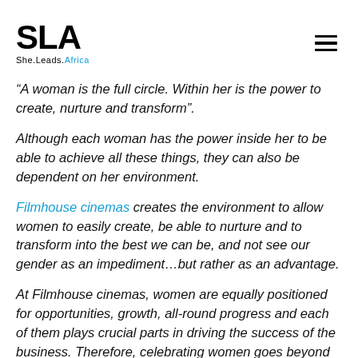SLA She.Leads.Africa
“A woman is the full circle. Within her is the power to create, nurture and transform”.
Although each woman has the power inside her to be able to achieve all these things, they can also be dependent on her environment.
Filmhouse cinemas creates the environment to allow women to easily create, be able to nurture and to transform into the best we can be, and not see our gender as an impediment…but rather as an advantage.
At Filmhouse cinemas, women are equally positioned for opportunities, growth, all-round progress and each of them plays crucial parts in driving the success of the business. Therefore, celebrating women goes beyond just